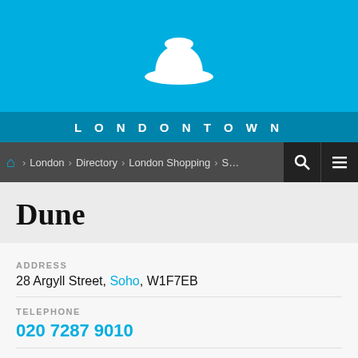[Figure (logo): LondonTown website header with bowler hat icon on blue background and LONDONTOWN text on teal bar]
LONDONTOWN
London > Directory > London Shopping > S... [search] [menu]
Dune
ADDRESS
28 Argyll Street, Soho, W1F7EB
TELEPHONE
020 7287 9010
OPENING TIMES
Today (Thursday) Dune closes at 20.00